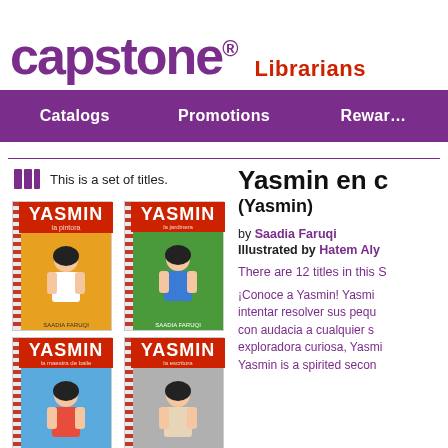capstone® Librarians
Catalogs   Promotions   Rewards
This is a set of titles.
Yasmin en c...
(Yasmin)
by Saadia Faruqi
Illustrated by Hatem Aly
There are 12 titles in this S...
¡Conoce a Yasmin! Yasmin... intentar resolver sus pequ... con audacia a cualquier s... exploradora curiosa, Yasmi... Yasmin is a spirited secon...
[Figure (illustration): Four Yasmin book covers arranged in a 2x2 grid. Top-left: orange background Yasmin book. Top-right: green background Yasmin book. Bottom-left: light blue background Yasmin book. Bottom-right: gray/purple background Yasmin book. Each cover features an illustrated girl character and the Yasmin title in red.]